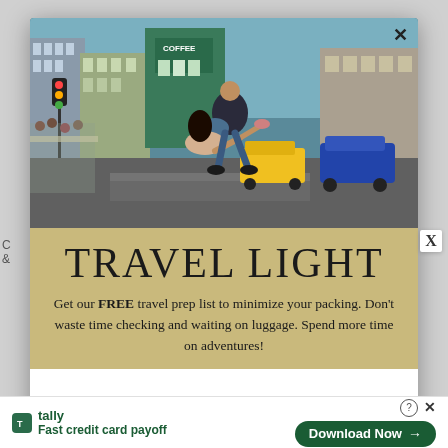[Figure (photo): A couple kissing on a busy city street intersection (New York City style), with tall buildings, billboards, traffic lights, yellow taxis, and cars visible in background. The man is dipping the woman dramatically.]
TRAVEL LIGHT
Get our FREE travel prep list to minimize your packing. Don't waste time checking and waiting on luggage. Spend more time on adventures!
tally
Fast credit card payoff
Download Now →